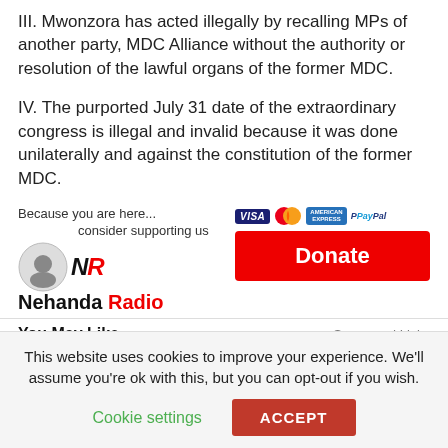III. Mwonzora has acted illegally by recalling MPs of another party, MDC Alliance without the authority or resolution of the lawful organs of the former MDC.
IV. The purported July 31 date of the extraordinary congress is illegal and invalid because it was done unilaterally and against the constitution of the former MDC.
[Figure (logo): Nehanda Radio logo with circular icon, bold NR monogram, and 'Nehanda Radio' text with Radio in red. Support donation section with Visa, Mastercard, Amex, PayPal icons and red Donate button.]
You May Like
Sponsored Links
This website uses cookies to improve your experience. We'll assume you're ok with this, but you can opt-out if you wish.
Cookie settings
ACCEPT